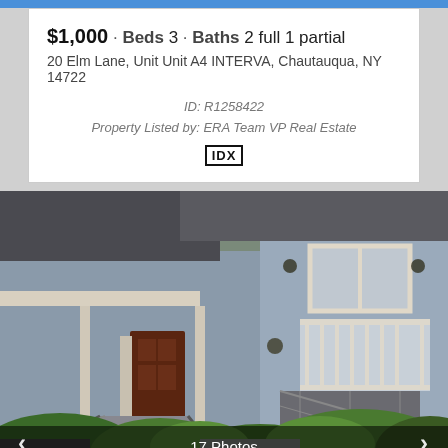$1,000 · Beds 3 · Baths 2 full 1 partial
20 Elm Lane, Unit Unit A4 INTERVA, Chautauqua, NY 14722
ID: R1258422
Property Listed by: ERA Team VP Real Estate
[Figure (photo): Exterior photo of a two-story gray-sided residential home with brown front door, covered porch, balcony, and lush green bushes/shrubs in the foreground. 17 Photos overlay at the bottom.]